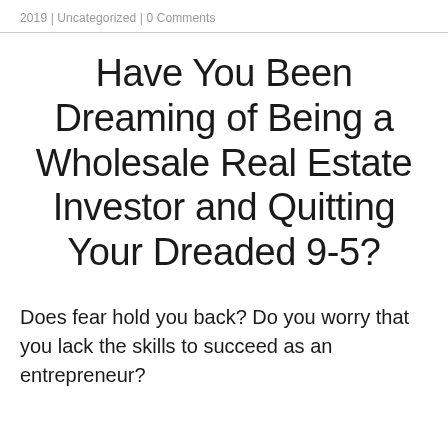2019 | Uncategorized | 0 Comments
Have You Been Dreaming of Being a Wholesale Real Estate Investor and Quitting Your Dreaded 9-5?
Does fear hold you back? Do you worry that you lack the skills to succeed as an entrepreneur?